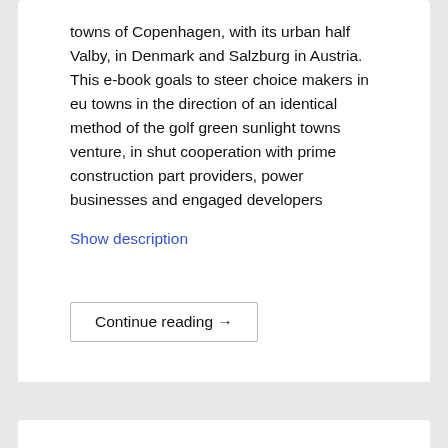towns of Copenhagen, with its urban half Valby, in Denmark and Salzburg in Austria. This e-book goals to steer choice makers in eu towns in the direction of an identical method of the golf green sunlight towns venture, in shut cooperation with prime construction part providers, power businesses and engaged developers
Show description
Continue reading →
Posted in Power Resources